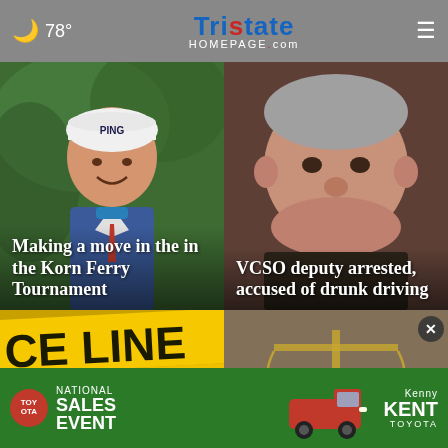78° TristateHomepage.com
[Figure (photo): Golfer smiling in PING hat with green background, headline: Making a move in the in the Korn Ferry Tournament]
[Figure (photo): Mugshot of a man, headline: VCSO deputy arrested, accused of drunk driving]
[Figure (photo): Yellow crime scene tape reading CE LINE]
[Figure (photo): Scales of justice close-up]
[Figure (photo): Advertisement: Toyota National Sales Event - Kenny Kent Toyota with red truck]